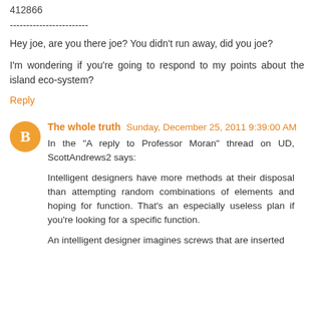412866
------------------------
Hey joe, are you there joe? You didn't run away, did you joe?
I'm wondering if you're going to respond to my points about the island eco-system?
Reply
The whole truth  Sunday, December 25, 2011 9:39:00 AM
In the "A reply to Professor Moran" thread on UD, ScottAndrews2 says:
Intelligent designers have more methods at their disposal than attempting random combinations of elements and hoping for function. That's an especially useless plan if you're looking for a specific function.
An intelligent designer imagines screws that are inserted